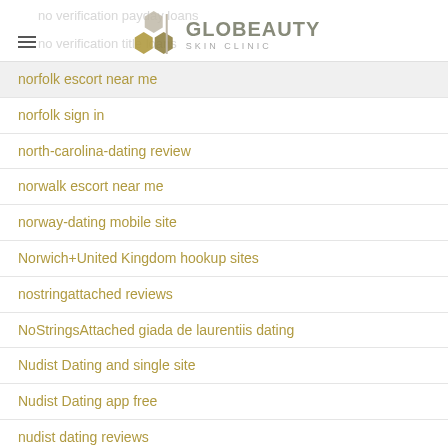GLOBEAUTY SKIN CLINIC
norfolk escort near me
norfolk sign in
north-carolina-dating review
norwalk escort near me
norway-dating mobile site
Norwich+United Kingdom hookup sites
nostringattached reviews
NoStringsAttached giada de laurentiis dating
Nudist Dating and single site
Nudist Dating app free
nudist dating reviews